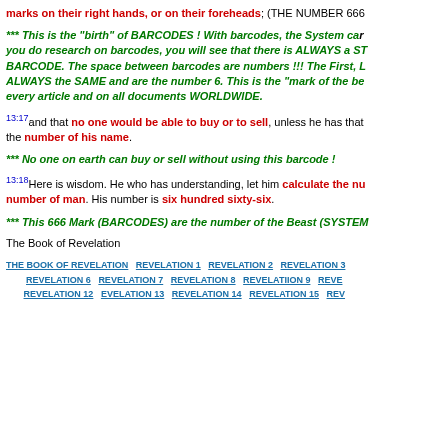marks on their right hands, or on their foreheads; (THE NUMBER 666...
*** This is the "birth" of BARCODES ! With barcodes, the System can... you do research on barcodes, you will see that there is ALWAYS a ST... BARCODE. The space between barcodes are numbers !!! The First, L... ALWAYS the SAME and are the number 6. This is the "mark of the be... every article and on all documents WORLDWIDE.
13:17 and that no one would be able to buy or to sell, unless he has that... the number of his name.
*** No one on earth can buy or sell without using this barcode !
13:18 Here is wisdom. He who has understanding, let him calculate the nu... number of man. His number is six hundred sixty-six.
*** This 666 Mark (BARCODES) are the number of the Beast (SYSTEM...
The Book of Revelation
THE BOOK OF REVELATION  REVELATION 1  REVELATION 2  REVELATION 3  REVELATION 6  REVELATION 7  REVELATION 8  REVELATIION 9  REVE...  REVELATION 12  EVELATION 13  REVELATION 14  REVELATION 15  REV...